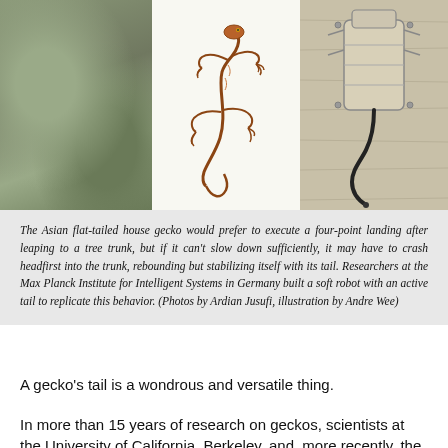[Figure (photo): Three-panel composite image: left panel shows bark of a tree trunk with green moss; center panel shows an illustration/diagram of an Asian flat-tailed house gecko in mid-air with tail extended; right panel shows a soft robot with an active tail mounted against a wooden surface.]
The Asian flat-tailed house gecko would prefer to execute a four-point landing after leaping to a tree trunk, but if it can't slow down sufficiently, it may have to crash headfirst into the trunk, rebounding but stabilizing itself with its tail. Researchers at the Max Planck Institute for Intelligent Systems in Germany built a soft robot with an active tail to replicate this behavior. (Photos by Ardian Jusufi, illustration by Andre Wee)
A gecko’s tail is a wondrous and versatile thing.
In more than 15 years of research on geckos, scientists at the University of California, Berkeley, and, more recently, the Max Planck Institute for Intelligent Systems in Stuttgart, Germany, have shown that geckos use their tails to maneuver in midair when gliding between trees, to right themselves when falling, to keep from falling off a tree when they lose their grip, and